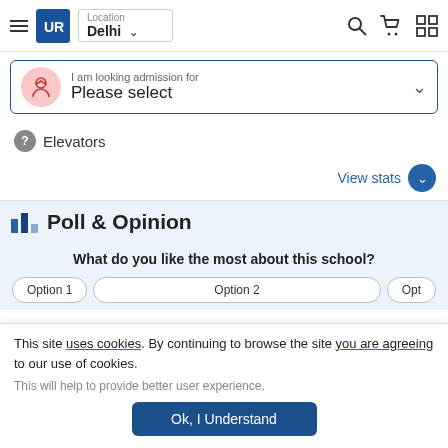[Figure (screenshot): Website navigation bar with hamburger menu, UR logo, Location Delhi dropdown, search icon, cart icon, and grid icon]
[Figure (screenshot): Admission selection bar: I am looking admission for - Please select dropdown]
Elevators
View stats
Poll & Opinion
What do you like the most about this school?
This site uses cookies. By continuing to browse the site you are agreeing to our use of cookies.
This will help to provide better user experience.
Ok, I Understand